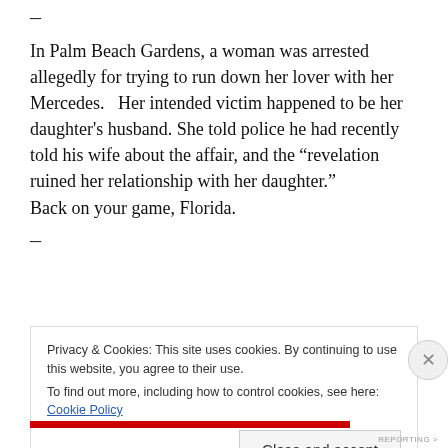–
In Palm Beach Gardens, a woman was arrested allegedly for trying to run down her lover with her Mercedes.   Her intended victim happened to be her daughter's husband. She told police he had recently told his wife about the affair, and the “revelation ruined her relationship with her daughter.”
Back on your game, Florida.
–
Privacy & Cookies: This site uses cookies. By continuing to use this website, you agree to their use.
To find out more, including how to control cookies, see here: Cookie Policy
Close and accept